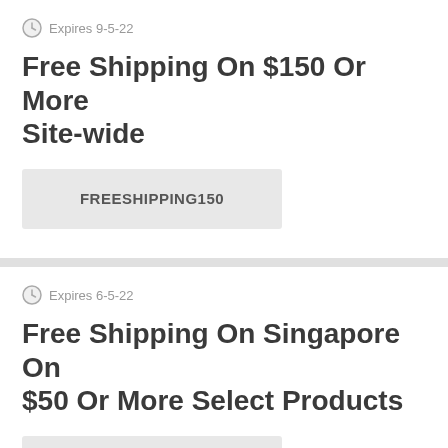Expires 9-5-22
Free Shipping On $150 Or More Site-wide
FREESHIPPING150
Expires 6-5-22
Free Shipping On Singapore On $50 Or More Select Products
GLOBAL